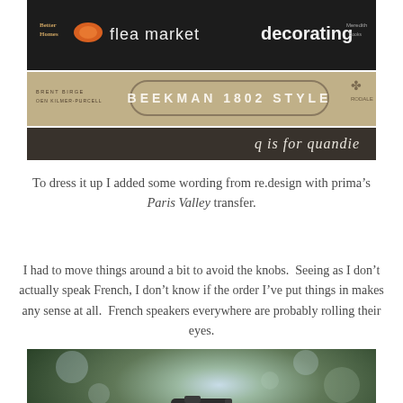[Figure (photo): Stack of books including Better Homes flea market decorating, Beekman 1802 Style, and a dark book with 'q is for quandie' text]
To dress it up I added some wording from re.design with prima’s Paris Valley transfer.
I had to move things around a bit to avoid the knobs.  Seeing as I don’t actually speak French, I don’t know if the order I’ve put things in makes any sense at all.  French speakers everywhere are probably rolling their eyes.
[Figure (photo): Blurred outdoor photo showing a small vintage camera held in hand against a bokeh green tree background]